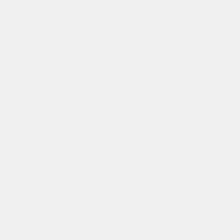ood"leg,orkneelorsito n
ood"leg,orkneelorsito n